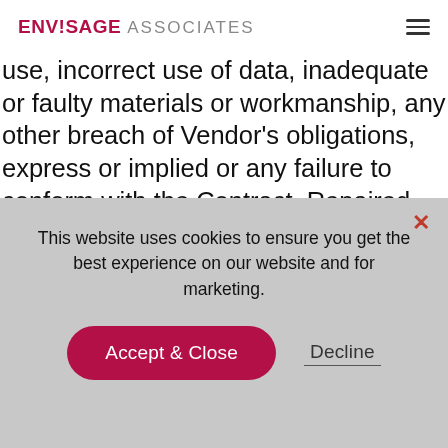ENVISAGE ASSOCIATES
shorter including without limitation, defects which occur due to Vendor's incorrect instructions as to use, incorrect use of data, inadequate or faulty materials or workmanship, any other breach of Vendor's obligations, express or implied or any failure to conform with the Contract. Repaired and replacement Goods shall themselves be subject to the foregoing warranty for a period of 12 months from the date of delivery, reinstallation or passing of tests (if any) whichever is appropriate after
This website uses cookies to ensure you get the best experience on our website and for marketing.
Accept & Close
Decline